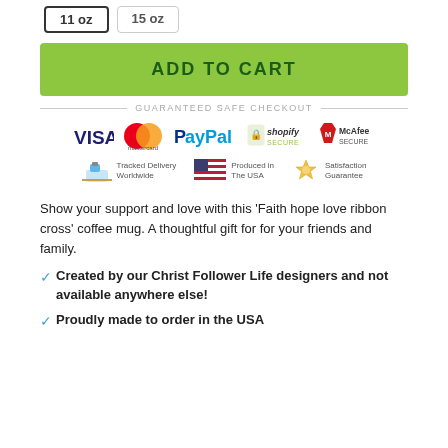[Figure (other): Two quantity buttons: '11 oz' (selected, bold border) and '15 oz' (unselected)]
ADD TO CART
[Figure (infographic): Guaranteed Safe Checkout banner with payment logos: VISA, Mastercard, PayPal, Shopify Secure, McAfee Secure, plus trust badges: Tracked Delivery Worldwide, Produced in The USA, Satisfaction Guarantee]
Show your support and love with this 'Faith hope love ribbon cross' coffee mug. A thoughtful gift for for your friends and family.
Created by our Christ Follower Life designers and not available anywhere else!
Proudly made to order in the USA